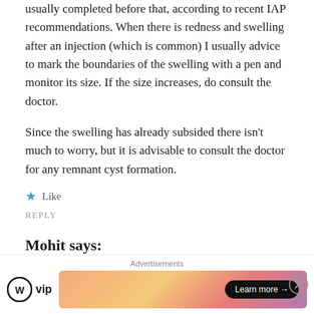usually completed before that, according to recent IAP recommendations. When there is redness and swelling after an injection (which is common) I usually advice to mark the boundaries of the swelling with a pen and monitor its size. If the size increases, do consult the doctor.
Since the swelling has already subsided there isn't much to worry, but it is advisable to consult the doctor for any remnant cyst formation.
★ Like
REPLY
Mohit says:
December 16, 2016 at 4:55 am
My Baby is 3 months On his Second Vaccination his Pead Dr.
[Figure (other): Advertisement banner with WordPress VIP logo and a gradient banner with Learn more arrow button]